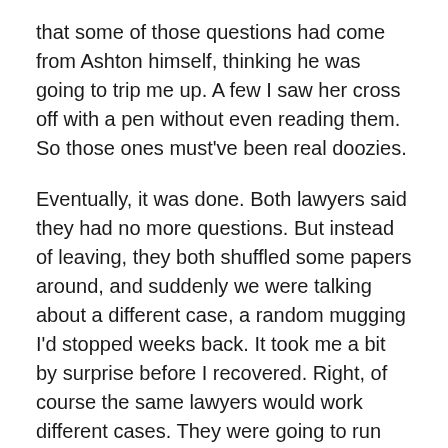that some of those questions had come from Ashton himself, thinking he was going to trip me up. A few I saw her cross off with a pen without even reading them. So those ones must've been real doozies.
Eventually, it was done. Both lawyers said they had no more questions. But instead of leaving, they both shuffled some papers around, and suddenly we were talking about a different case, a random mugging I'd stopped weeks back. It took me a bit by surprise before I recovered. Right, of course the same lawyers would work different cases. They were going to run through every case that involved the same attorney(s) while they were already here.
Yeah, this was going to take awhile. But at least I only had to do it once a month. So, I pushed my thoughts away from worrying about that whole… Paige thing and focused